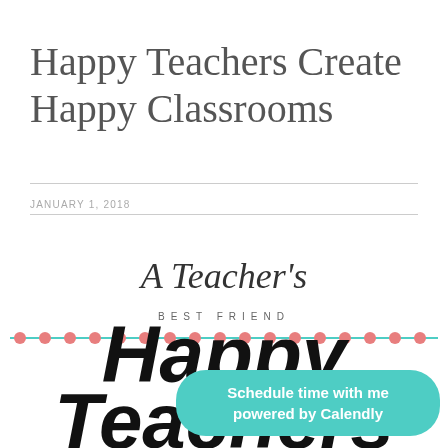Happy Teachers Create Happy Classrooms
JANUARY 1, 2018
[Figure (logo): A Teacher's Best Friend logo with script text and decorative dot border in coral and teal]
[Figure (illustration): Large handwritten-style black text reading 'Happy Teachers' with Calendly scheduling badge overlay]